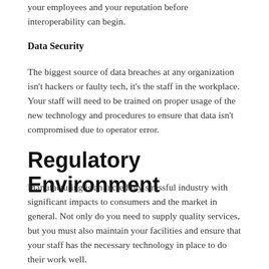your employees and your reputation before interoperability can begin.
Data Security
The biggest source of data breaches at any organization isn't hackers or faulty tech, it's the staff in the workplace. Your staff will need to be trained on proper usage of the new technology and procedures to ensure that data isn't compromised due to operator error.
Regulatory Environment
Manufacturing is an incredibly stressful industry with significant impacts to consumers and the market in general. Not only do you need to supply quality services, but you must also maintain your facilities and ensure that your staff has the necessary technology in place to do their work well.
...